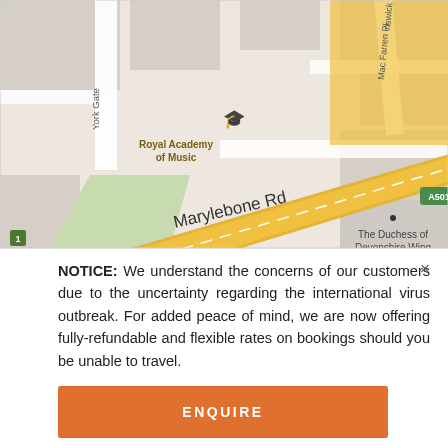[Figure (map): Street map showing Marylebone Road (A501) in London, with Royal Academy of Music labeled, The Duchess of Devonshire Wing, York Gate, Mac Farren Pl, Brunswick Pl, Ulster Pl streets visible. The main road (Marylebone Rd) is shown as a wide yellow road running diagonally.]
NOTICE: We understand the concerns of our customers due to the uncertainty regarding the international virus outbreak. For added peace of mind, we are now offering fully-refundable and flexible rates on bookings should you be unable to travel.
ENQUIRE